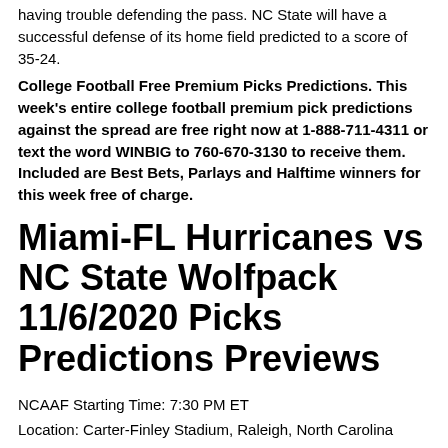having trouble defending the pass. NC State will have a successful defense of its home field predicted to a score of 35-24.
College Football Free Premium Picks Predictions. This week's entire college football premium pick predictions against the spread are free right now at 1-888-711-4311 or text the word WINBIG to 760-670-3130 to receive them. Included are Best Bets, Parlays and Halftime winners for this week free of charge.
Miami-FL Hurricanes vs NC State Wolfpack 11/6/2020 Picks Predictions Previews
NCAAF Starting Time: 7:30 PM ET
Location: Carter-Finley Stadium, Raleigh, North Carolina
Date: Friday, November 6, 2020
TV: ESPN
NCAEF Odds: NC State Wolfpack +9.5